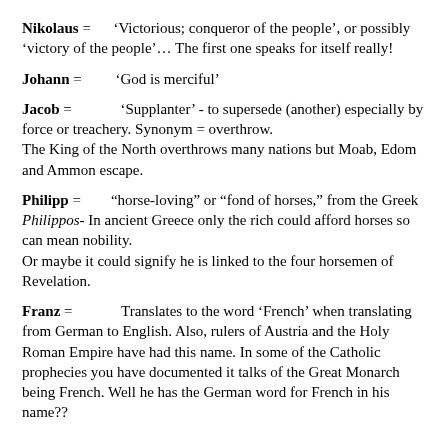Nikolaus = 'Victorious; conqueror of the people', or possibly 'victory of the people'… The first one speaks for itself really!
Johann = 'God is merciful'
Jacob = 'Supplanter' - to supersede (another) especially by force or treachery. Synonym = overthrow.
The King of the North overthrows many nations but Moab, Edom and Ammon escape.
Philipp = "horse-loving" or "fond of horses," from the Greek Philippos- In ancient Greece only the rich could afford horses so can mean nobility.
Or maybe it could signify he is linked to the four horsemen of Revelation.
Franz = Translates to the word 'French' when translating from German to English. Also, rulers of Austria and the Holy Roman Empire have had this name. In some of the Catholic prophecies you have documented it talks of the Great Monarch being French. Well he has the German word for French in his name??